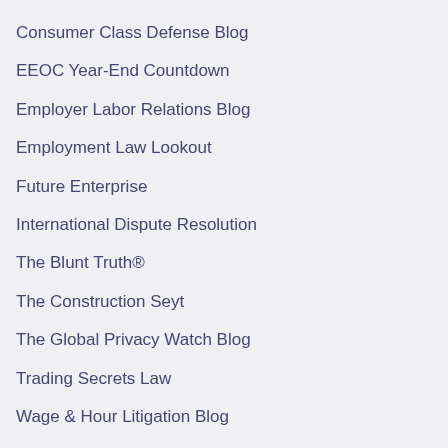Consumer Class Defense Blog
EEOC Year-End Countdown
Employer Labor Relations Blog
Employment Law Lookout
Future Enterprise
International Dispute Resolution
The Blunt Truth®
The Construction Seyt
The Global Privacy Watch Blog
Trading Secrets Law
Wage & Hour Litigation Blog
Workplace Class Action Blog